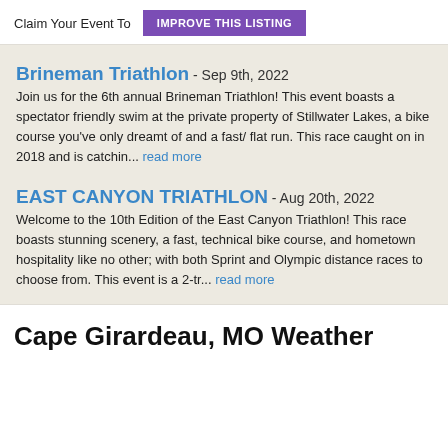Claim Your Event To  IMPROVE THIS LISTING
Brineman Triathlon - Sep 9th, 2022
Join us for the 6th annual Brineman Triathlon! This event boasts a spectator friendly swim at the private property of Stillwater Lakes, a bike course you've only dreamt of and a fast/ flat run. This race caught on in 2018 and is catchin... read more
EAST CANYON TRIATHLON - Aug 20th, 2022
Welcome to the 10th Edition of the East Canyon Triathlon! This race boasts stunning scenery, a fast, technical bike course, and hometown hospitality like no other; with both Sprint and Olympic distance races to choose from. This event is a 2-tr... read more
Cape Girardeau, MO Weather